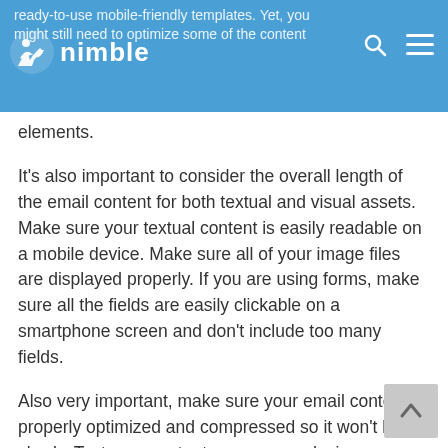nimble
ready-to-use mobile-friendly templates. Yet, you might still need to optimize some of the content elements.
It's also important to consider the overall length of the email content for both textual and visual assets. Make sure your textual content is easily readable on a mobile device. Make sure all of your image files are displayed properly. If you are using forms, make sure all the fields are easily clickable on a smartphone screen and don't include too many fields.
Also very important, make sure your email content is properly optimized and compressed so it won't load slowly. Test your content on as many devices as possible.